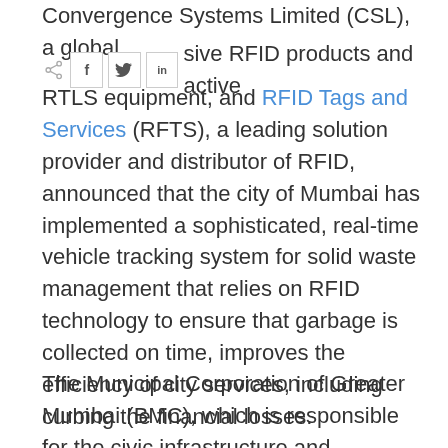Convergence Systems Limited (CSL), a global provider of passive RFID products and active RTLS equipment, and RFID Tags and Services (RFTS), a leading solution provider and distributor of RFID, announced that the city of Mumbai has implemented a sophisticated, real-time vehicle tracking system for solid waste management that relies on RFID technology to ensure that garbage is collected on time, improves the efficiency of city services, including curbing the financial losses.
The Municipal Corporation of Greater Mumbai (BMC), which is responsible for the civic infrastructure and administration of the city,